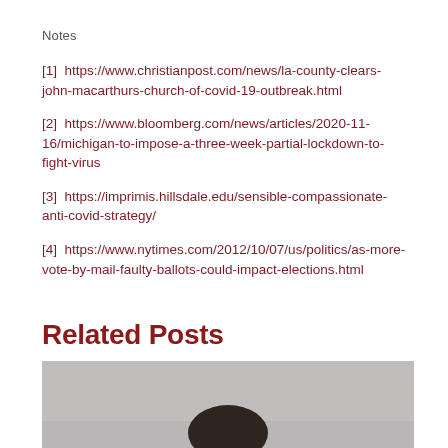Notes
[1] https://www.christianpost.com/news/la-county-clears-john-macarthurs-church-of-covid-19-outbreak.html
[2] https://www.bloomberg.com/news/articles/2020-11-16/michigan-to-impose-a-three-week-partial-lockdown-to-fight-virus
[3] https://imprimis.hillsdale.edu/sensible-compassionate-anti-covid-strategy/
[4] https://www.nytimes.com/2012/10/07/us/politics/as-more-vote-by-mail-faulty-ballots-could-impact-elections.html
Related Posts
[Figure (photo): Photo of a person with dark hair against a grey background, partially visible (head and upper portion)]